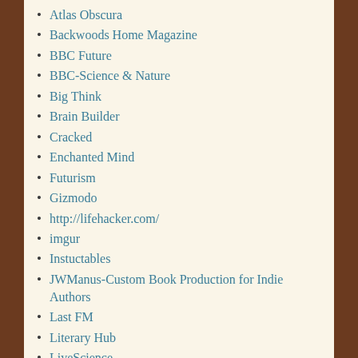Atlas Obscura
Backwoods Home Magazine
BBC Future
BBC-Science & Nature
Big Think
Brain Builder
Cracked
Enchanted Mind
Futurism
Gizmodo
http://lifehacker.com/
imgur
Instuctables
JWManus-Custom Book Production for Indie Authors
Last FM
Literary Hub
LiveScience
Mental Floss
Mercola
Mix
Mother Nature Network
MSNBC
Natural Renewable...